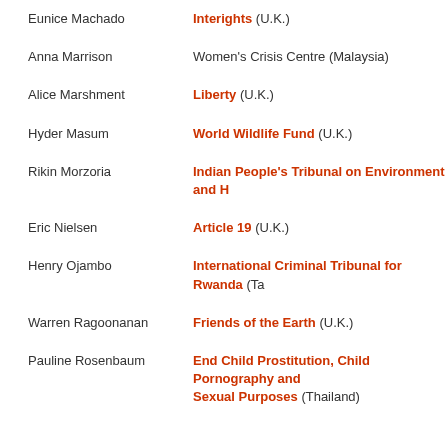Eunice Machado — Interights (U.K.)
Anna Marrison — Women's Crisis Centre (Malaysia)
Alice Marshment — Liberty (U.K.)
Hyder Masum — World Wildlife Fund (U.K.)
Rikin Morzoria — Indian People's Tribunal on Environment and H
Eric Nielsen — Article 19 (U.K.)
Henry Ojambo — International Criminal Tribunal for Rwanda (Ta…)
Warren Ragoonanan — Friends of the Earth (U.K.)
Pauline Rosenbaum — End Child Prostitution, Child Pornography and Sexual Purposes (Thailand)